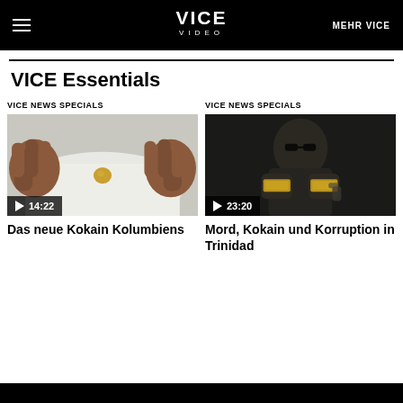VICE VIDEO | MEHR VICE
VICE Essentials
VICE NEWS SPECIALS
[Figure (screenshot): Video thumbnail showing hands holding a small round object on white cloth, with play button and duration 14:22]
Das neue Kokain Kolumbiens
VICE NEWS SPECIALS
[Figure (screenshot): Video thumbnail showing a man with sunglasses displaying gold rings, with play button and duration 23:20]
Mord, Kokain und Korruption in Trinidad